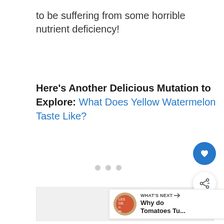to be suffering from some horrible nutrient deficiency!
Here's Another Delicious Mutation to Explore: What Does Yellow Watermelon Taste Like?
[Figure (other): Image carousel placeholder with three navigation dots; buttons for heart/like and share overlaid; 'What's Next' thumbnail panel in bottom right corner]
WHAT'S NEXT → Why do Tomatoes Tu...